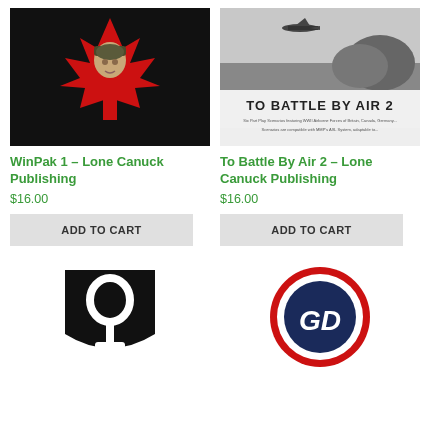[Figure (illustration): WinPak 1 product cover: soldier face overlaid on a red Canadian maple leaf on black background]
WinPak 1 – Lone Canuck Publishing
$16.00
ADD TO CART
[Figure (illustration): To Battle By Air 2 product cover: black and white photo of planes and trees, bold text 'TO BATTLE BY AIR 2']
To Battle By Air 2 – Lone Canuck Publishing
$16.00
ADD TO CART
[Figure (illustration): Black shield badge with white shovel/spade silhouette]
[Figure (illustration): Circular badge with red, white, and dark blue rings, with stylized letters 'GD' in the center]